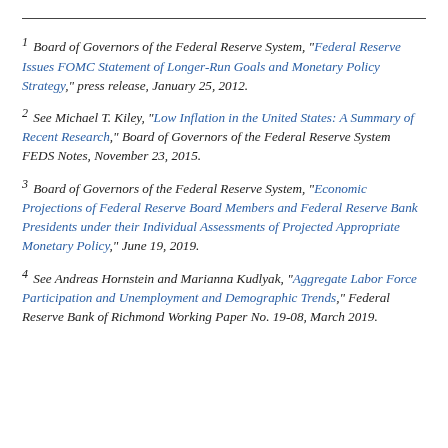1 Board of Governors of the Federal Reserve System, "Federal Reserve Issues FOMC Statement of Longer-Run Goals and Monetary Policy Strategy," press release, January 25, 2012.
2 See Michael T. Kiley, "Low Inflation in the United States: A Summary of Recent Research," Board of Governors of the Federal Reserve System FEDS Notes, November 23, 2015.
3 Board of Governors of the Federal Reserve System, "Economic Projections of Federal Reserve Board Members and Federal Reserve Bank Presidents under their Individual Assessments of Projected Appropriate Monetary Policy," June 19, 2019.
4 See Andreas Hornstein and Marianna Kudlyak, "Aggregate Labor Force Participation and Unemployment and Demographic Trends," Federal Reserve Bank of Richmond Working Paper No. 19-08, March 2019.